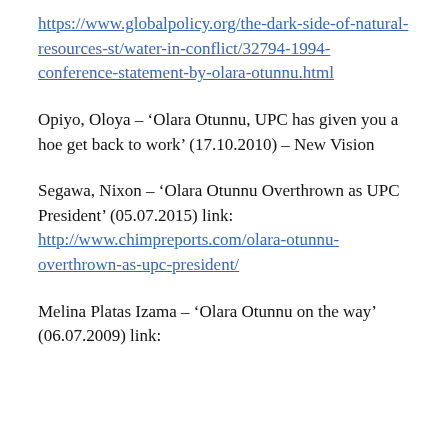https://www.globalpolicy.org/the-dark-side-of-natural-resources-st/water-in-conflict/32794-1994-conference-statement-by-olara-otunnu.html
Opiyo, Oloya – 'Olara Otunnu, UPC has given you a hoe get back to work' (17.10.2010) – New Vision
Segawa, Nixon – 'Olara Otunnu Overthrown as UPC President' (05.07.2015) link: http://www.chimpreports.com/olara-otunnu-overthrown-as-upc-president/
Melina Platas Izama – 'Olara Otunnu on the way' (06.07.2009) link: